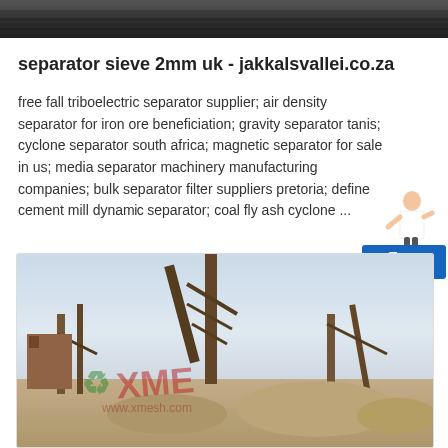[Figure (photo): Top partial image showing dark industrial or mining scene, cropped]
separator sieve 2mm uk - jakkalsvallei.co.za
free fall triboelectric separator supplier; air density separator for iron ore beneficiation; gravity separator tanis; cyclone separator south africa; magnetic separator for sale in us; media separator machinery manufacturing companies; bulk separator filter suppliers pretoria; define cement mill dynamic separator; coal fly ash cyclone ...
READ MORE
[Figure (photo): Industrial mining plant with conveyor belts, metal structures, and material piles. XME watermark visible in green and red text.]